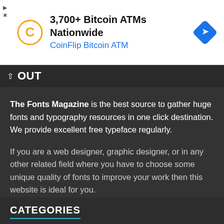[Figure (screenshot): Advertisement banner for CoinFlip Bitcoin ATM showing logo, text '3,700+ Bitcoin ATMs Nationwide' and 'CoinFlip Bitcoin ATM', with a blue navigation arrow icon on the right.]
OUT
The Fonts Magazine is the best source to gather huge fonts and typography resources in one click destination. We provide excellent free typeface regularly.
If you are a web designer, graphic designer, or in any other related field where you have to choose some unique quality of fonts to improve your work then this website is ideal for you.
CATEGORIES